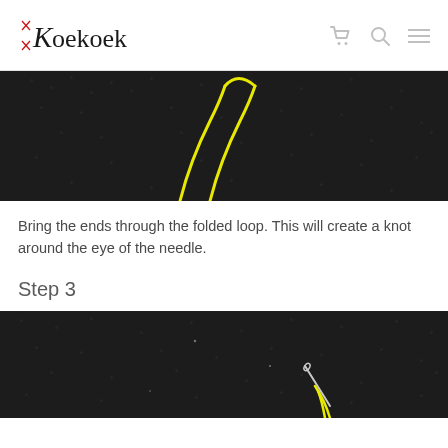Koekoek
[Figure (photo): Close-up of dark fabric with yellow thread forming a folded loop, showing needle threading technique]
Bring the ends through the folded loop. This will create a knot around the eye of the needle.
Step 3
[Figure (photo): Close-up of dark fabric with a needle and yellow thread, showing step 3 of threading process]